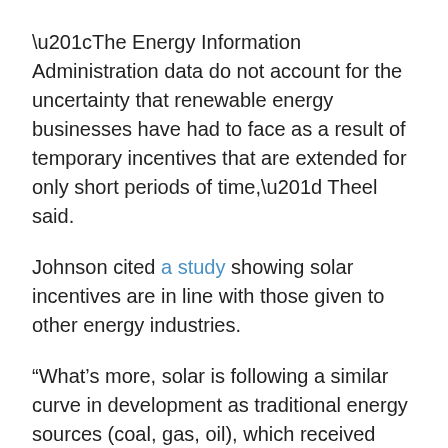“The Energy Information Administration data do not account for the uncertainty that renewable energy businesses have had to face as a result of temporary incentives that are extended for only short periods of time,” Theel said.
Johnson cited a study showing solar incentives are in line with those given to other energy industries.
“What’s more, solar is following a similar curve in development as traditional energy sources (coal, gas, oil), which received substantial subsidies during their growth period and are now still getting many of them,” Johnson said in his email.
Warren said subsidies “across the board distort the market.”